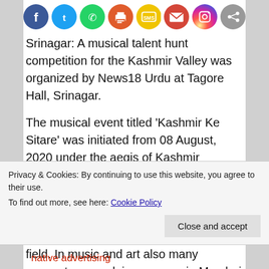[Figure (other): Row of social media sharing icons: Facebook (blue), Twitter (light blue), WhatsApp (green), Print (orange), SMS (yellow), Email (red), Instagram (gradient), Share (gray)]
Srinagar: A musical talent hunt competition for the Kashmir Valley was organized by News18 Urdu at Tagore Hall, Srinagar.
The musical event titled 'Kashmir Ke Sitare' was initiated from 08 August, 2020 under the aegis of Kashmir Glowkar Society in joint collaboration with News 18 Urdu TV Channel.
“There is no dearth of talent in Kashmir. Our youngsters have excelled in every field. In music and art also many youngsters are doing very we in Mumbai and other parts of India. This talent hunt show provided a platform to all such
Privacy & Cookies: By continuing to use this website, you agree to their use.
To find out more, see here: Cookie Policy
Close and accept
native advertising